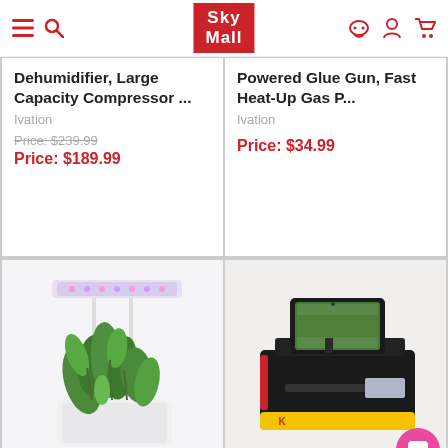SkyMall
Dehumidifier, Large Capacity Compressor ...
Ivation
Price: $239.99
Price: $189.99
Powered Glue Gun, Fast Heat-Up Gas P...
Ivation
Price: $34.99
[Figure (photo): Indoor herb garden with LED grow light panel, white planter pot with green plants]
Save 64%
[Figure (photo): Kodak mobile film scanner device with smartphone on top, black and yellow body]
Save 42%